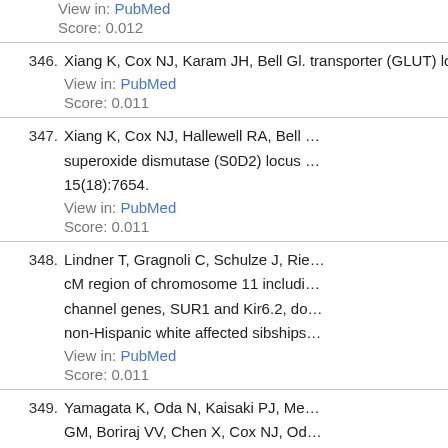View in: PubMed
Score: 0.012
346. Xiang K, Cox NJ, Karam JH, Bell Gl. transporter (GLUT) locus on chromo...
View in: PubMed
Score: 0.011
347. Xiang K, Cox NJ, Hallewell RA, Bell ... superoxide dismutase (S0D2) locus ... 15(18):7654.
View in: PubMed
Score: 0.011
348. Lindner T, Gragnoli C, Schulze J, Rie... cM region of chromosome 11 includi... channel genes, SUR1 and Kir6.2, do... non-Hispanic white affected sibships...
View in: PubMed
Score: 0.011
349. Yamagata K, Oda N, Kaisaki PJ, Me... GM, Boriraj VV, Chen X, Cox NJ, Od... Fajans SS, Hattersley AT, Iwasaki N,... Mutations in the hepatocyte nuclear ... (MODY3) Nature. 1996 Dec 05; 384...